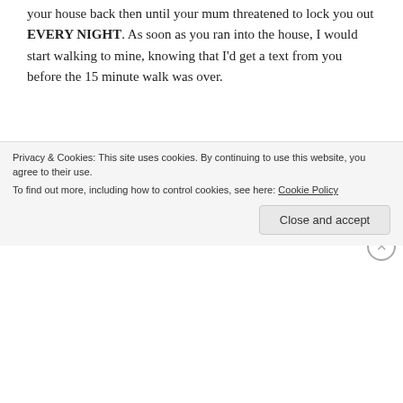your house back then until your mum threatened to lock you out EVERY NIGHT. As soon as you ran into the house, I would start walking to mine, knowing that I'd get a text from you before the 15 minute walk was over.
You never left Luke for me. I never asked you to. Somehow, I understood that you loved us both. And he could do things for you I couldn't. Not financially, emotionally. I mean, he was 24 and I was barely going on 17. But I always believed I was more special to you. And that was all that mattered to
Privacy & Cookies: This site uses cookies. By continuing to use this website, you agree to their use.
To find out more, including how to control cookies, see here: Cookie Policy
Close and accept